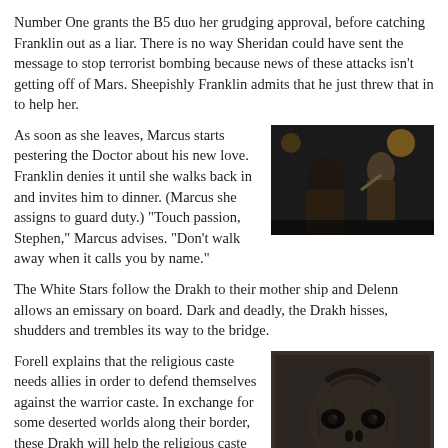Number One grants the B5 duo her grudging approval, before catching Franklin out as a liar. There is no way Sheridan could have sent the message to stop terrorist bombing because news of these attacks isn't getting off of Mars. Sheepishly Franklin admits that he just threw that in to help her.
As soon as she leaves, Marcus starts pestering the Doctor about his new love. Franklin denies it until she walks back in and invites him to dinner. (Marcus she assigns to guard duty.) "Touch passion, Stephen," Marcus advises. "Don't walk away when it calls you by name."
[Figure (photo): Dark scene showing two figures, one in the foreground and one in the background pointing.]
The White Stars follow the Drakh to their mother ship and Delenn allows an emissary on board. Dark and deadly, the Drakh hisses, shudders and trembles its way to the bridge.
Forell explains that the religious caste needs allies in order to defend themselves against the warrior caste. In exchange for some deserted worlds along their border, these Drakh will help the religious caste in the looming civil war. The Drakh want peace, he argues. They only want a home.
[Figure (photo): Close-up of the Drakh alien creature, a dark and menacing-looking alien face.]